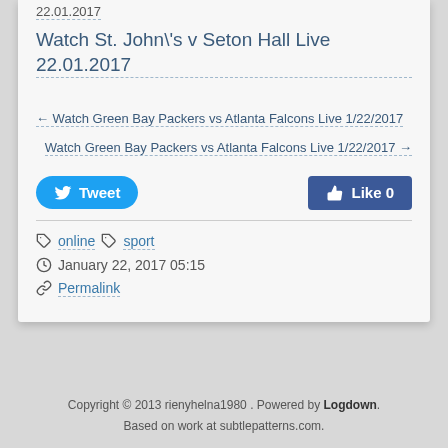22.01.2017
Watch St. John\'s v Seton Hall Live 22.01.2017
← Watch Green Bay Packers vs Atlanta Falcons Live 1/22/2017
Watch Green Bay Packers vs Atlanta Falcons Live 1/22/2017 →
Tweet
Like 0
online  sport
January 22, 2017 05:15
Permalink
Copyright © 2013 rienyhelna1980 . Powered by Logdown. Based on work at subtlepatterns.com.